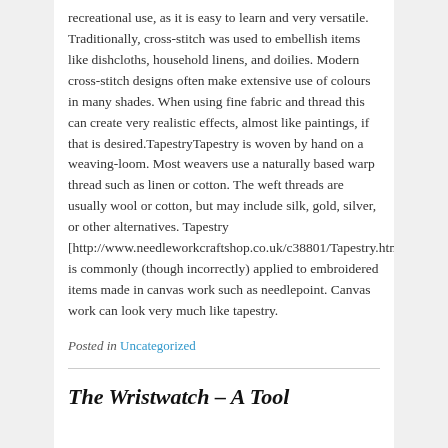recreational use, as it is easy to learn and very versatile. Traditionally, cross-stitch was used to embellish items like dishcloths, household linens, and doilies. Modern cross-stitch designs often make extensive use of colours in many shades. When using fine fabric and thread this can create very realistic effects, almost like paintings, if that is desired.TapestryTapestry is woven by hand on a weaving-loom. Most weavers use a naturally based warp thread such as linen or cotton. The weft threads are usually wool or cotton, but may include silk, gold, silver, or other alternatives. Tapestry [http://www.needleworkcraftshop.co.uk/c38801/Tapestry.html] is commonly (though incorrectly) applied to embroidered items made in canvas work such as needlepoint. Canvas work can look very much like tapestry.
Posted in Uncategorized
The Wristwatch – A Tool